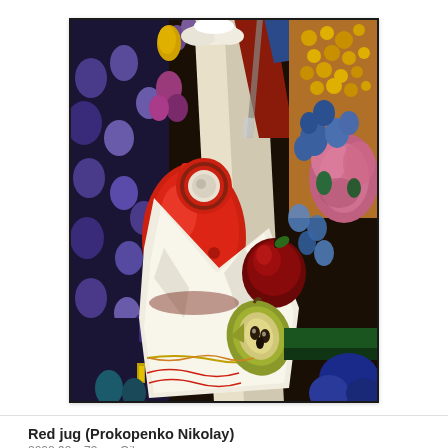[Figure (illustration): A colorful expressionist oil painting titled 'Red jug' by Prokopenko Nikolay. The painting shows a still life with a prominent red ceramic jug with a circular handle in the center, draped white cloth, a dark red apple, a halved pear showing seeds, and a richly decorated colorful background filled with abstract shapes, petals, and mosaic-like colored forms in reds, blues, purples, greens, yellows, and pinks.]
Red jug (Prokopenko Nikolay)
2008 92 x 73 cm Oil on canvas